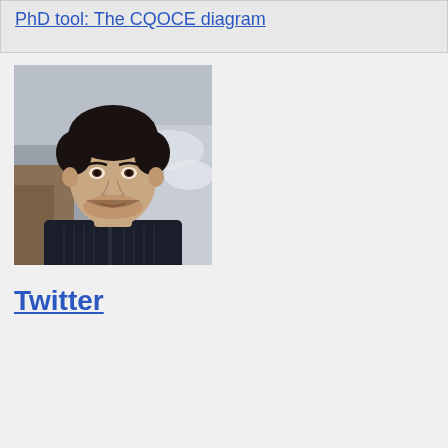PhD tool: The CQOCE diagram
[Figure (photo): Portrait photo of a young man with dark curly hair and a beard, wearing a dark ribbed sweater, with a snowy/rocky outdoor background]
Twitter